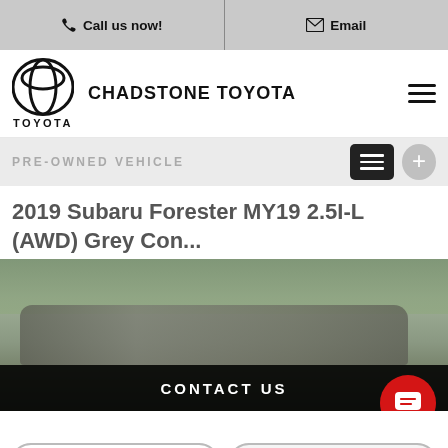Call us now! | Email
[Figure (logo): Toyota logo with text TOYOTA and dealer name CHADSTONE TOYOTA]
PRE-OWNED VEHICLE
2019 Subaru Forester MY19 2.5I-L (AWD) Grey Con...
[Figure (photo): Grey Subaru Forester SUV photographed from side/rear in a parking area with trees in background]
CONTACT US
FINANCE THIS VEHICLE
PLACE DEPOSIT